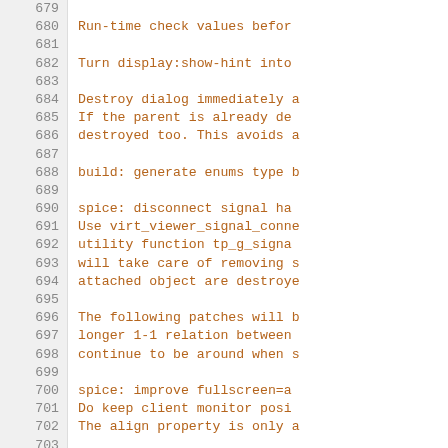Source code / changelog listing with line numbers 679–708, showing git commit messages in monospace. Lines include: Run-time check values before, Turn display:show-hint into, Destroy dialog immediately a..., If the parent is already de..., destroyed too. This avoids a..., build: generate enums type b..., spice: disconnect signal ha..., Use virt_viewer_signal_conne..., utility function tp_g_signa..., will take care of removing s..., attached object are destroye..., The following patches will b..., longer 1-1 relation between..., continue to be around when s..., spice: improve fullscreen=a..., Do keep client monitor posi..., The align property is only a..., 2012-07-03  Marc-André Lureau  <mar..., build: allow building with b..., Fix copied from libvirt...